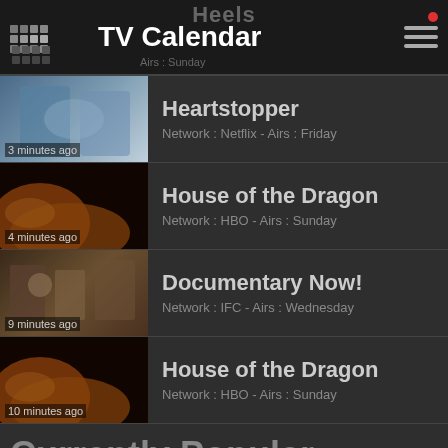TV Calendar
Heartstopper
Network : Netflix - Airs : Friday
3 minutes ago
House of the Dragon
Network : HBO - Airs : Sunday
4 minutes ago
Documentary Now!
Network : IFC - Airs : Wednesday
9 minutes ago
House of the Dragon
Network : HBO - Airs : Sunday
10 minutes ago
Currently Popular
House of the Dragon
+1170 selects this week